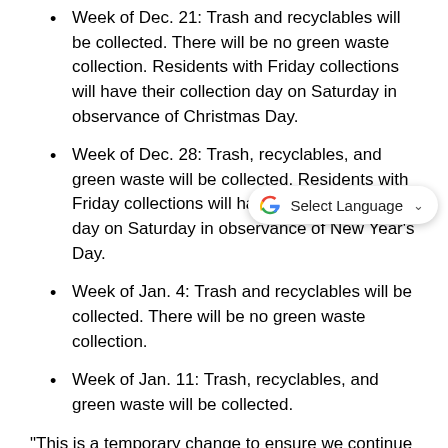Week of Dec. 21:  Trash and recyclables will be collected. There will be no green waste collection. Residents with Friday collections will have their collection day on Saturday in observance of Christmas Day.
Week of Dec. 28:   Trash, recyclables, and green waste will be collected. Residents with Friday collections will have their collection day on Saturday in observance of New Year's Day.
Week of Jan. 4: Trash and recyclables will be collected. There will be no green waste collection.
Week of Jan. 11: Trash, recyclables, and green waste will be collected.
“This is a temporary change to ensure we continue to provide critical trash collection service to our Palmdale customers,” said Sandra Pursley, Regional Manager for Waste Management.  “All other services will continue as scheduled.”
“We ask for your patience as we make temporary